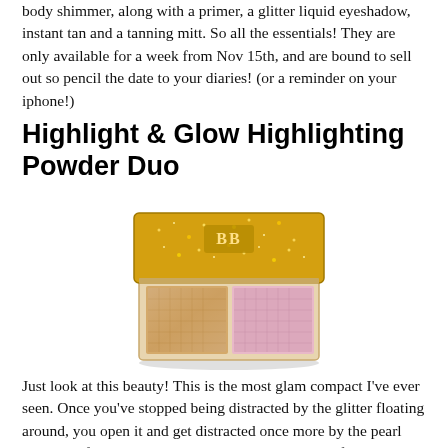body shimmer, along with a primer, a glitter liquid eyeshadow, instant tan and a tanning mitt. So all the essentials! They are only available for a week from Nov 15th, and are bound to sell out so pencil the date to your diaries! (or a reminder on your iphone!)
Highlight & Glow Highlighting Powder Duo
[Figure (photo): A luxury makeup compact (BB branded) with a gold glitter lid, open to reveal two highlighting powder pans — one warm golden/champagne and one pink/rose with textured pressed powder patterns.]
Just look at this beauty! This is the most glam compact I've ever seen. Once you've stopped being distracted by the glitter floating around, you open it and get distracted once more by the pearl pigment of the highlighters! Although this isn't a gift guide post, I